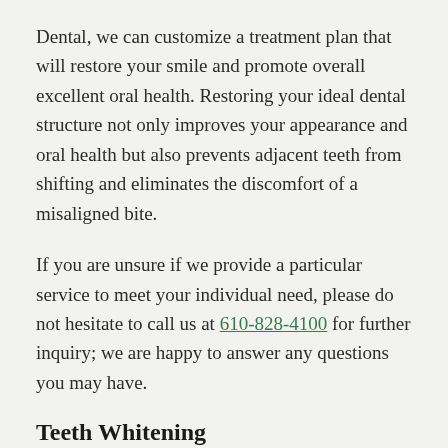Dental, we can customize a treatment plan that will restore your smile and promote overall excellent oral health. Restoring your ideal dental structure not only improves your appearance and oral health but also prevents adjacent teeth from shifting and eliminates the discomfort of a misaligned bite.
If you are unsure if we provide a particular service to meet your individual need, please do not hesitate to call us at 610-828-4100 for further inquiry; we are happy to answer any questions you may have.
Teeth Whitening
Over time, your teeth's natural whiteness can fade or become discolored as the result of diet, personal